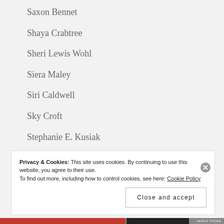Saxon Bennet
Shaya Crabtree
Sheri Lewis Wohl
Siera Maley
Siri Caldwell
Sky Croft
Stephanie E. Kusiak
Stevie Mikayne
Susan X. Meagher
Privacy & Cookies: This site uses cookies. By continuing to use this website, you agree to their use.
To find out more, including how to control cookies, see here: Cookie Policy
Close and accept